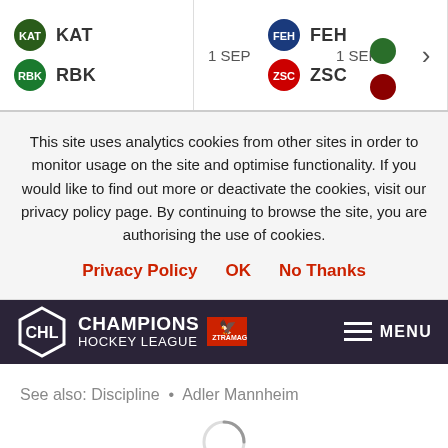[Figure (screenshot): Sports match bar showing KAT vs RBK on 1 SEP and FEH vs ZSC on 1 SEP with partial team logos on right and a right arrow button]
This site uses analytics cookies from other sites in order to monitor usage on the site and optimise functionality. If you would like to find out more or deactivate the cookies, visit our privacy policy page. By continuing to browse the site, you are authorising the use of cookies.
Privacy Policy   OK   No Thanks
[Figure (logo): Champions Hockey League logo with hexagon CHL emblem, CHAMPIONS HOCKEY LEAGUE text, red sponsor badge, and MENU hamburger icon on dark purple background]
See also: Discipline • Adler Mannheim
[Figure (other): Circular loading spinner (partial arc)]
Official presenting sponsor